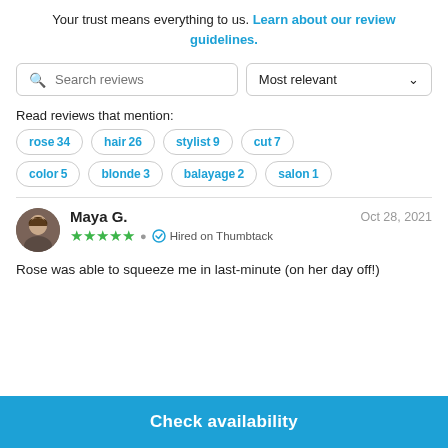Your trust means everything to us. Learn about our review guidelines.
[Figure (screenshot): Search reviews input box with magnifying glass icon]
[Figure (screenshot): Most relevant sort dropdown]
Read reviews that mention:
rose 34
hair 26
stylist 9
cut 7
color 5
blonde 3
balayage 2
salon 1
Maya G.   Oct 28, 2021  ★★★★★  Hired on Thumbtack
Rose was able to squeeze me in last-minute (on her day off!)